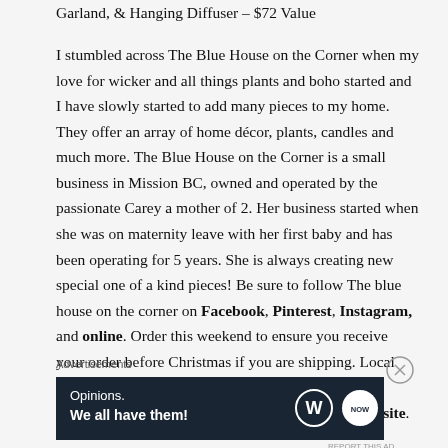Garland, & Hanging Diffuser – $72 Value
I stumbled across The Blue House on the Corner when my love for wicker and all things plants and boho started and I have slowly started to add many pieces to my home. They offer an array of home décor, plants, candles and much more. The Blue House on the Corner is a small business in Mission BC, owned and operated by the passionate Carey a mother of 2. Her business started when she was on maternity leave with her first baby and has been operating for 5 years. She is always creating new special one of a kind pieces! Be sure to follow The blue house on the corner on Facebook, Pinterest, Instagram, and online. Order this weekend to ensure you receive your order before Christmas if you are shipping. Local pick up orders can be done after this weekend for Christmas – for more information check out her website.
Advertisements
[Figure (other): Advertisement banner with dark navy background. Text reads 'Opinions. We all have them!' with WordPress logo and another circular logo on the right.]